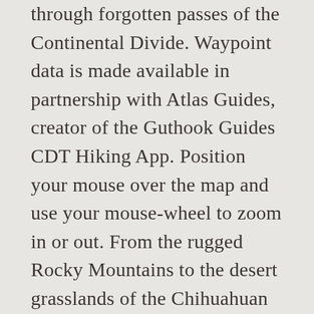through forgotten passes of the Continental Divide. Waypoint data is made available in partnership with Atlas Guides, creator of the Guthook Guides CDT Hiking App. Position your mouse over the map and use your mouse-wheel to zoom in or out. From the rugged Rocky Mountains to the desert grasslands of the Chihuahuan Desert, the CDT extends for 820 miles through New Mexico, a mosaic of azure skies, adobe architecture, vistas of the “Wild West”, and red rock cliffs. The big picture. The CDTC and the U.S. Forest Service give no warranty, expressed or implied, as to the accuracy, reliability, or completeness of this data. Improved gravel or surfaced roads are not official sections of the CDNST travel